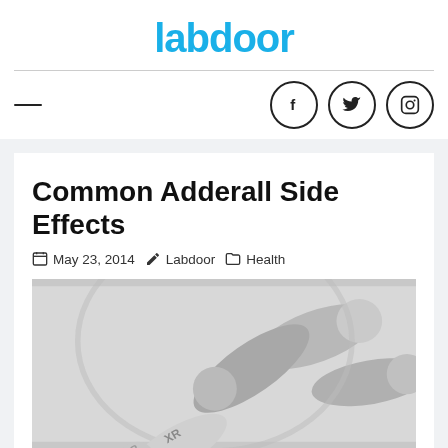labdoor
[Figure (logo): Labdoor logo in blue text]
Common Adderall Side Effects
May 23, 2014   Labdoor   Health
[Figure (photo): Black and white photograph of capsule pills spilling out of a container, with text visible on one pill reading 'XR']